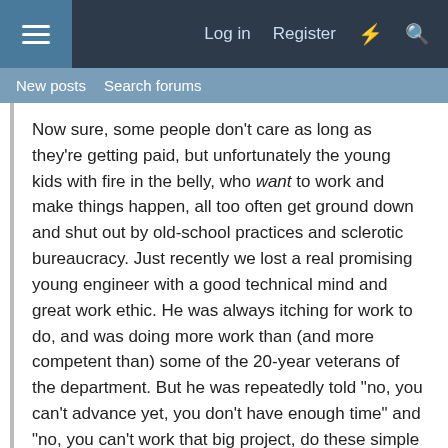Log in  Register  ⚡  🔍
New posts  Search forums
Now sure, some people don't care as long as they're getting paid, but unfortunately the young kids with fire in the belly, who want to work and make things happen, all too often get ground down and shut out by old-school practices and sclerotic bureaucracy. Just recently we lost a real promising young engineer with a good technical mind and great work ethic. He was always itching for work to do, and was doing more work than (and more competent than) some of the 20-year veterans of the department. But he was repeatedly told "no, you can't advance yet, you don't have enough time" and "no, you can't work that big project, do these simple repairs instead". Finally, after being told "ok, we can promote you but we can't give you a pay raise" while simultaneously the older guy who was well-known for doing nothing got promoted